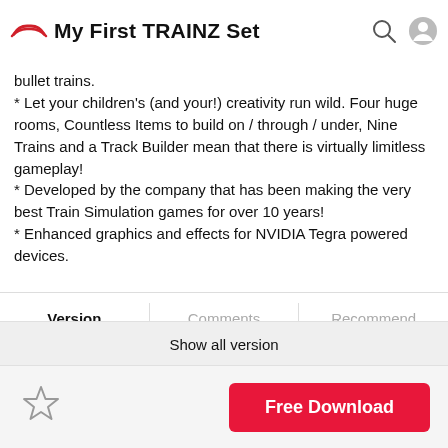My First TRAINZ Set
bullet trains.
* Let your children's (and your!) creativity run wild. Four huge rooms, Countless Items to build on / through / under, Nine Trains and a Track Builder mean that there is virtually limitless gameplay!
* Developed by the company that has been making the very best Train Simulation games for over 10 years!
* Enhanced graphics and effects for NVIDIA Tegra powered devices.
Version | Comments | Recommend
UpdateTime:  16 Nov 2011
1.2  16 Nov 2011
Show all version
Free Download